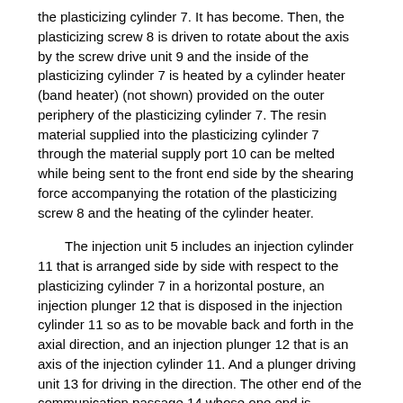the plasticizing cylinder 7. It has become. Then, the plasticizing screw 8 is driven to rotate about the axis by the screw drive unit 9 and the inside of the plasticizing cylinder 7 is heated by a cylinder heater (band heater) (not shown) provided on the outer periphery of the plasticizing cylinder 7. The resin material supplied into the plasticizing cylinder 7 through the material supply port 10 can be melted while being sent to the front end side by the shearing force accompanying the rotation of the plasticizing screw 8 and the heating of the cylinder heater.
The injection unit 5 includes an injection cylinder 11 that is arranged side by side with respect to the plasticizing cylinder 7 in a horizontal posture, an injection plunger 12 that is disposed in the injection cylinder 11 so as to be movable back and forth in the axial direction, and an injection plunger 12 that is an axis of the injection cylinder 11. And a plunger driving unit 13 for driving in the direction. The other end of the communication passage 14 whose one end is connected to the tip of the plasticizing cylinder 7 is connected to the tip surface of the injection cylinder 11, so that the inside of the tip of the injection cylinder 11 is connected to the tip of the plasticizing cylinder 7. It